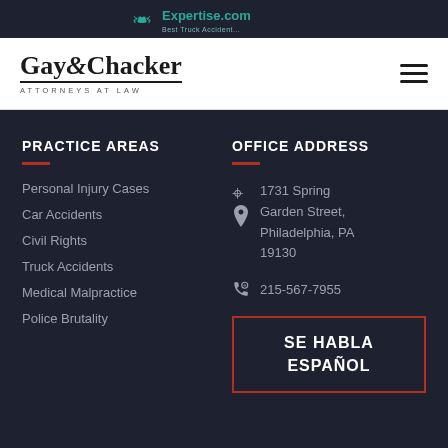[Figure (logo): Expertise.com award badge banner at the top]
[Figure (logo): Gay & Chacker Attorneys at Law logo]
PRACTICE AREAS
Personal Injury Cases
Car Accidents
Civil Rights
Truck Accidents
Medical Malpractice
Police Brutality
OFFICE ADDRESS
1731 Spring Garden Street, Philadelphia, PA 19130
215-567-7955
SE HABLA ESPAÑOL